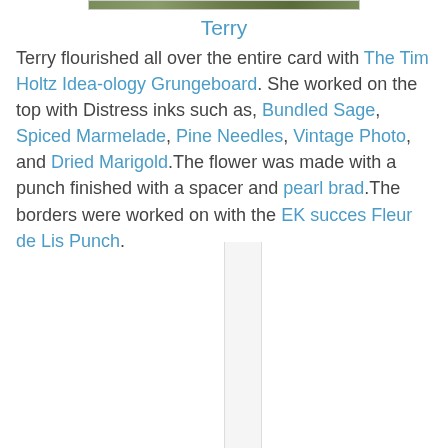[Figure (photo): Top portion of a photo showing foliage/greenery, partially visible at top of page]
Terry
Terry flourished all over the entire card with The Tim Holtz Idea-ology Grungeboard. She worked on the top with Distress inks such as, Bundled Sage, Spiced Marmelade, Pine Needles, Vintage Photo, and Dried Marigold.The flower was made with a punch finished with a spacer and pearl brad.The borders were worked on with the EK succes Fleur de Lis Punch.
[Figure (photo): Partial white/light colored image visible at bottom center of page]